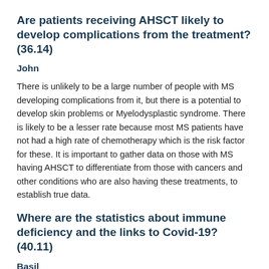Are patients receiving AHSCT likely to develop complications from the treatment? (36.14)
John
There is unlikely to be a large number of people with MS developing complications from it, but there is a potential to develop skin problems or Myelodysplastic syndrome. There is likely to be a lesser rate because most MS patients have not had a high rate of chemotherapy which is the risk factor for these. It is important to gather data on those with MS having AHSCT to differentiate from those with cancers and other conditions who are also having these treatments, to establish true data.
Where are the statistics about immune deficiency and the links to Covid-19? (40.11)
Basil